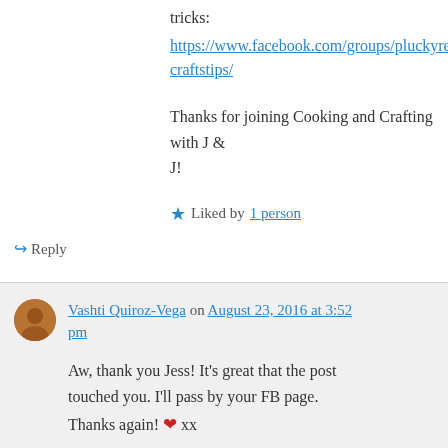tricks:
https://www.facebook.com/groups/pluckyrecipescraftstips/
Thanks for joining Cooking and Crafting with J & J!
★ Liked by 1 person
↪ Reply
Vashti Quiroz-Vega on August 23, 2016 at 3:52 pm
Aw, thank you Jess! It's great that the post touched you. I'll pass by your FB page. Thanks again! ❤ xx